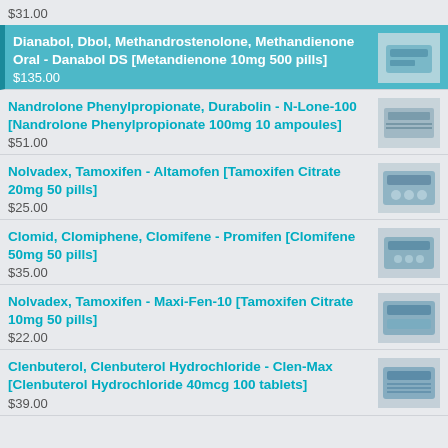$31.00
Dianabol, Dbol, Methandrostenolone, Methandienone Oral - Danabol DS [Metandienone 10mg 500 pills]
$135.00
Nandrolone Phenylpropionate, Durabolin - N-Lone-100 [Nandrolone Phenylpropionate 100mg 10 ampoules]
$51.00
Nolvadex, Tamoxifen - Altamofen [Tamoxifen Citrate 20mg 50 pills]
$25.00
Clomid, Clomiphene, Clomifene - Promifen [Clomifene 50mg 50 pills]
$35.00
Nolvadex, Tamoxifen - Maxi-Fen-10 [Tamoxifen Citrate 10mg 50 pills]
$22.00
Clenbuterol, Clenbuterol Hydrochloride - Clen-Max [Clenbuterol Hydrochloride 40mcg 100 tablets]
$39.00